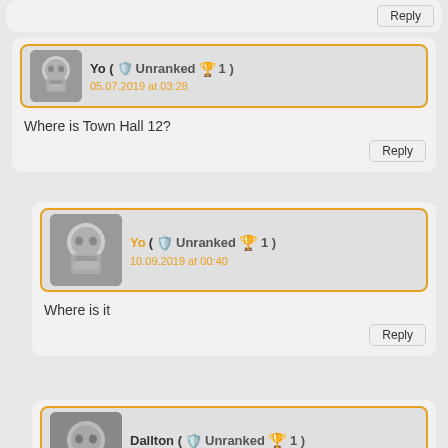Yo ( Unranked 1 )
05.07.2019 at 03:28
Where is Town Hall 12?
Yo ( Unranked 1 )
10.09.2019 at 00:40
Where is it
Dallton ( Unranked 1 )
05.01.2020 at 03:26